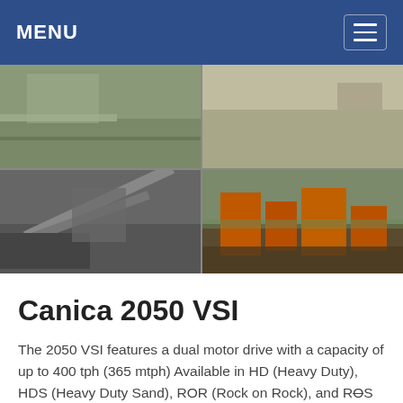MENU
[Figure (photo): Four-panel photo grid showing industrial crushing/screening equipment: top-left shows a construction or plant site with workers, top-right shows an open field/quarry with vehicles, bottom-left shows a black-and-white image of conveyor belts and screening equipment, bottom-right shows orange-colored crushing/screening plant machinery in an outdoor setting.]
Canica 2050 VSI
The 2050 VSI features a dual motor drive with a capacity of up to 400 tph (365 mtph) Available in HD (Heavy Duty), HDS (Heavy Duty Sand), ROR (Rock on Rock), and ROS (Rock on Steel) configurations. Contact Us Sign Up Find a Dealer. Specifications